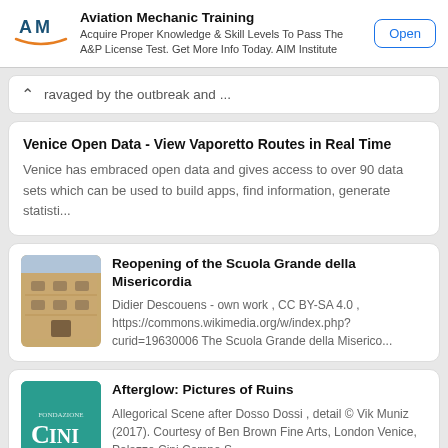[Figure (screenshot): Aviation Mechanic Training advertisement banner with AM logo, description text, and Open button]
ravaged by the outbreak and ...
Venice Open Data - View Vaporetto Routes in Real Time
Venice has embraced open data and gives access to over 90 data sets which can be used to build apps, find information, generate statisti...
Reopening of the Scuola Grande della Misericordia
Didier Descouens - own work , CC BY-SA 4.0 , https://commons.wikimedia.org/w/index.php?curid=19630006 The Scuola Grande della Miserico...
Afterglow: Pictures of Ruins
Allegorical Scene after Dosso Dossi , detail © Vik Muniz (2017). Courtesy of Ben Brown Fine Arts, London Venice, Palazzo Cini Campo S...